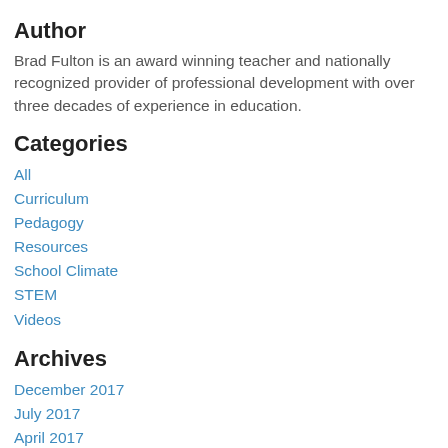Author
Brad Fulton is an award winning teacher and nationally recognized provider of professional development with over three decades of experience in education.
Categories
All
Curriculum
Pedagogy
Resources
School Climate
STEM
Videos
Archives
December 2017
July 2017
April 2017
January 2017
November 2016
October 2016